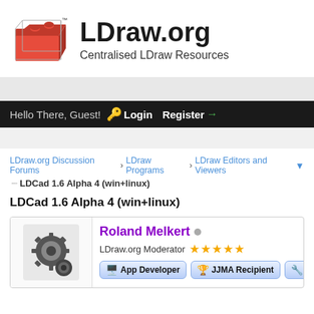[Figure (logo): LDraw.org website header with red LEGO brick logo and site title 'LDraw.org' with subtitle 'Centralised LDraw Resources']
Hello There, Guest! Login Register
LDraw.org Discussion Forums › LDraw Programs › LDraw Editors and Viewers
LDCad 1.6 Alpha 4 (win+linux)
LDCad 1.6 Alpha 4 (win+linux)
Roland Melkert • LDraw.org Moderator ★★★★★ App Developer | JJMA Recipient